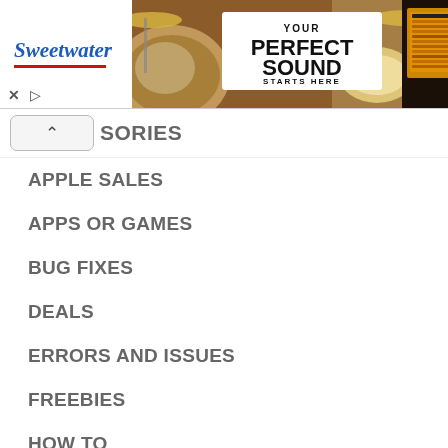[Figure (screenshot): Sweetwater advertisement banner showing 'Your Perfect Sound Starts Here' with drum kit imagery]
ACCESSORIES
APPLE SALES
APPS OR GAMES
BUG FIXES
DEALS
ERRORS AND ISSUES
FREEBIES
HOW TO
JAILBREAKING
LEAKS AND RUMORS
NEWS
REVIEWS